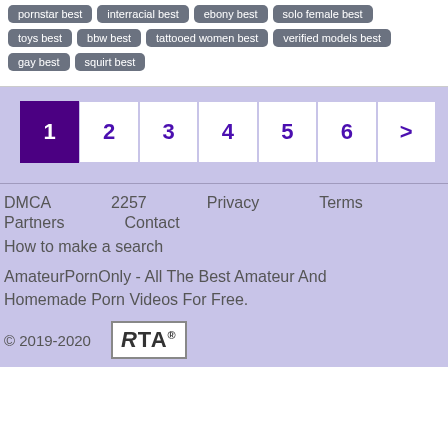pornstar best
interracial best
ebony best
solo female best
toys best
bbw best
tattooed women best
verified models best
gay best
squirt best
1 2 3 4 5 6 >
DMCA  2257  Privacy  Terms
Partners  Contact
How to make a search

AmateurPornOnly - All The Best Amateur And Homemade Porn Videos For Free.

© 2019-2020   RTA®